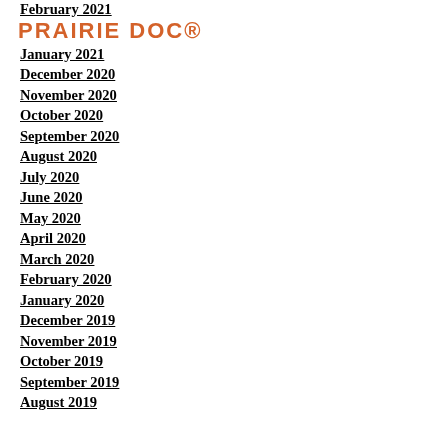[Figure (logo): Prairie Doc® logo in orange/copper color, overlapping the list]
February 2021
January 2021
December 2020
November 2020
October 2020
September 2020
August 2020
July 2020
June 2020
May 2020
April 2020
March 2020
February 2020
January 2020
December 2019
November 2019
October 2019
September 2019
August 2019